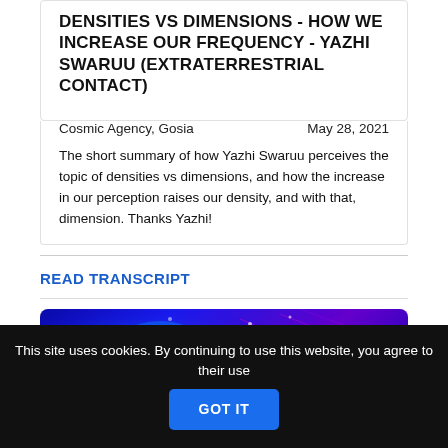DENSITIES VS DIMENSIONS - HOW WE INCREASE OUR FREQUENCY - YAZHI SWARUU (EXTRATERRESTRIAL CONTACT)
Cosmic Agency, Gosia                  May 28, 2021
The short summary of how Yazhi Swaruu perceives the topic of densities vs dimensions, and how the increase in our perception raises our density, and with that, dimension. Thanks Yazhi!
READ TRANSCRIPT
[Figure (screenshot): Dark blue and purple glowing digital background with partially visible stylized text beginning with 'HOY NOO COOEXI002' or similar in cyan/teal bold italic font]
This site uses cookies. By continuing to use this website, you agree to their use  GOT IT